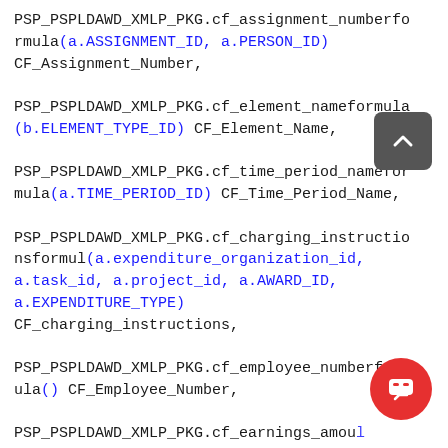PSP_PSPLDAWD_XMLP_PKG.cf_assignment_numberformula(a.ASSIGNMENT_ID, a.PERSON_ID) CF_Assignment_Number,

PSP_PSPLDAWD_XMLP_PKG.cf_element_nameformula(b.ELEMENT_TYPE_ID) CF_Element_Name,

PSP_PSPLDAWD_XMLP_PKG.cf_time_period_nameformula(a.TIME_PERIOD_ID) CF_Time_Period_Name,

PSP_PSPLDAWD_XMLP_PKG.cf_charging_instructionsformul(a.expenditure_organization_id, a.task_id, a.project_id, a.AWARD_ID, a.EXPENDITURE_TYPE) CF_charging_instructions,

PSP_PSPLDAWD_XMLP_PKG.cf_employee_numberformula() CF_Employee_Number,

PSP_PSPLDAWD_XMLP_PKG.cf_earnings_amoula(:CF_currency_format, SUM ( decode (